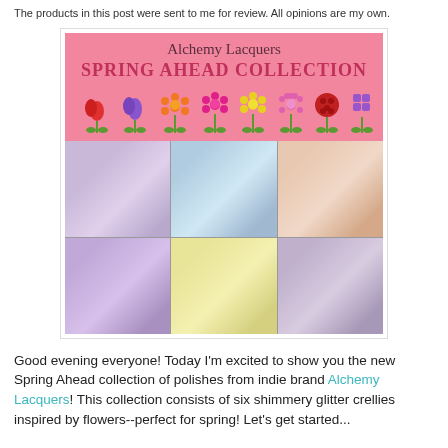The products in this post were sent to me for review. All opinions are my own.
[Figure (photo): Alchemy Lacquers Spring Ahead Collection promotional image: pink banner with cursive 'Alchemy Lacquers' text and bold 'SPRING AHEAD COLLECTION' title, decorated with cartoon spring flowers, below which is a 3x2 grid of nail polish swatch photos showing lavender, blue/grey glitter, peach with red glitter, purple shimmer, pale yellow, and mauve glitter polishes.]
Good evening everyone! Today I'm excited to show you the new Spring Ahead collection of polishes from indie brand Alchemy Lacquers! This collection consists of six shimmery glitter crellies inspired by flowers--perfect for spring! Let's get started...